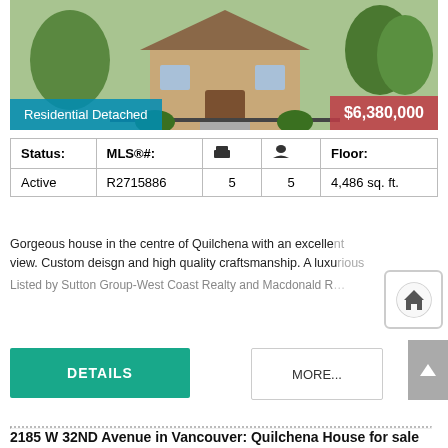[Figure (photo): Exterior photo of a residential detached house with landscaping]
Residential Detached
$6,380,000
| Status: | MLS®#: | 🛏 | 🛁 | Floor: |
| --- | --- | --- | --- | --- |
| Active | R2715886 | 5 | 5 | 4,486 sq. ft. |
Gorgeous house in the centre of Quilchena with an excellent view. Custom deisgn and high quality craftsmanship. A luxurious
Listed by Sutton Group-West Coast Realty and Macdonald R
DETAILS
MORE...
2185 W 32ND Avenue in Vancouver: Quilchena House for sale (Vancouver West) : MLS®# R2681294
[Figure (photo): Exterior photo of a second residential property]